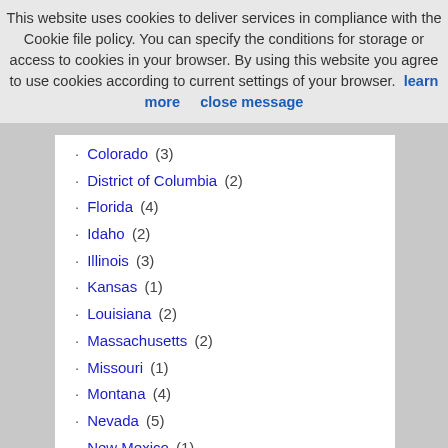This website uses cookies to deliver services in compliance with the Cookie file policy. You can specify the conditions for storage or access to cookies in your browser. By using this website you agree to use cookies according to current settings of your browser.  learn more     close message
Colorado (3)
District of Columbia (2)
Florida (4)
Idaho (2)
Illinois (3)
Kansas (1)
Louisiana (2)
Massachusetts (2)
Missouri (1)
Montana (4)
Nevada (5)
New Mexico (1)
New York (6)
Oklahoma (1)
Oregon (1)